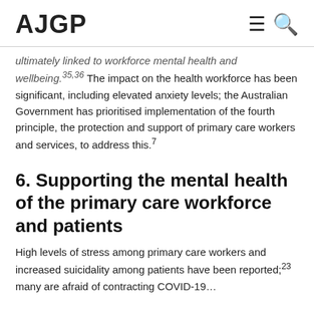AJGP
ultimately linked to workforce mental health and wellbeing.35,36 The impact on the health workforce has been significant, including elevated anxiety levels; the Australian Government has prioritised implementation of the fourth principle, the protection and support of primary care workers and services, to address this.7
6. Supporting the mental health of the primary care workforce and patients
High levels of stress among primary care workers and increased suicidality among patients have been reported;23 many are afraid of contracting COVID-19…